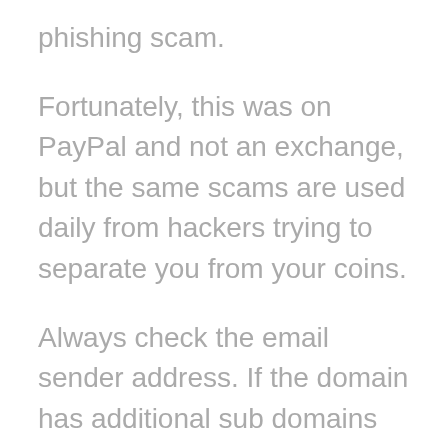phishing scam.
Fortunately, this was on PayPal and not an exchange, but the same scams are used daily from hackers trying to separate you from your coins.
Always check the email sender address. If the domain has additional sub domains attached to it (for example myetherwallet.com.co) do NOT click it and absolutely do not navigate to the link and enter any passwords or usernames.